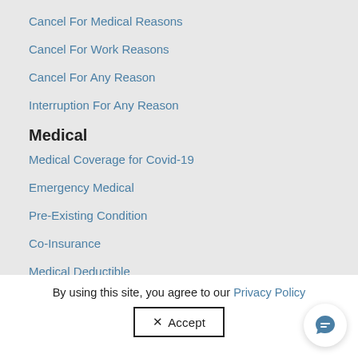Cancel For Medical Reasons
Cancel For Work Reasons
Cancel For Any Reason
Interruption For Any Reason
Medical
Medical Coverage for Covid-19
Emergency Medical
Pre-Existing Condition
Co-Insurance
Medical Deductible
Home Country Coverage
Evacuation
Medical Evacuation & Repatriation
Non Medical Evacuation
By using this site, you agree to our Privacy Policy
✕ Accept